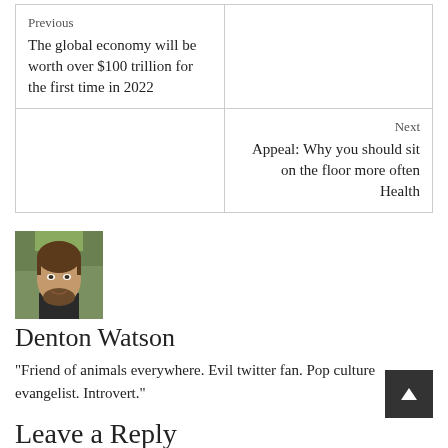| Previous
The global economy will be worth over $100 trillion for the first time in 2022 |  |
|  | Next
Appeal: Why you should sit on the floor more often
Health |
[Figure (photo): Author photo of Denton Watson, a young man with brown hair and beard, wearing a dark shirt, outdoors with green foliage in background]
Denton Watson
"Friend of animals everywhere. Evil twitter fan. Pop culture evangelist. Introvert."
Leave a Reply
Your email address will not be published. Required fields are marked *